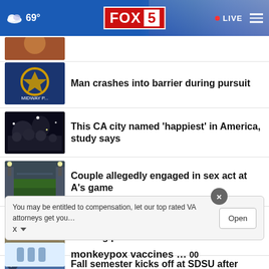FOX 5 · 69° · LIVE
Man crashes into barrier during pursuit
This CA city named 'happiest' in America, study says
Couple allegedly engaged in sex act at A's game
Mayor supports new Midway District housing plan
Fall semester kicks off at SDSU after party controversy
monkeypox vaccines …
You may be entitled to compensation, let our top rated VA attorneys get you…
Open